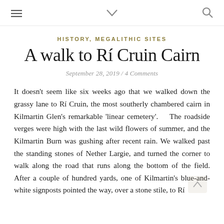≡   ∨   🔍
HISTORY, MEGALITHIC SITES
A walk to Rí Cruin Cairn
September 28, 2019 / 4 Comments
It doesn't seem like six weeks ago that we walked down the grassy lane to Rí Cruin, the most southerly chambered cairn in Kilmartin Glen's remarkable 'linear cemetery'.    The roadside verges were high with the last wild flowers of summer, and the Kilmartin Burn was gushing after recent rain. We walked past the standing stones of Nether Largie, and turned the corner to walk along the road that runs along the bottom of the field. After a couple of hundred yards, one of Kilmartin's blue-and-white signposts pointed the way, over a stone stile, to Rí